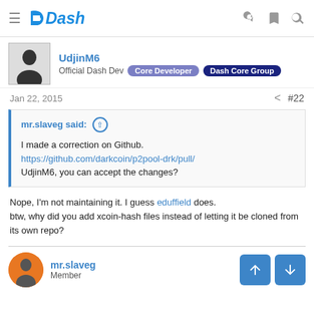Dash
UdjinM6
Official Dash Dev  Core Developer  Dash Core Group
Jan 22, 2015  #22
mr.slaveg said:
I made a correction on Github.
https://github.com/darkcoin/p2pool-drk/pull/
UdjinM6, you can accept the changes?
Nope, I'm not maintaining it. I guess eduffield does.
btw, why did you add xcoin-hash files instead of letting it be cloned from its own repo?
mr.slaveg
Member